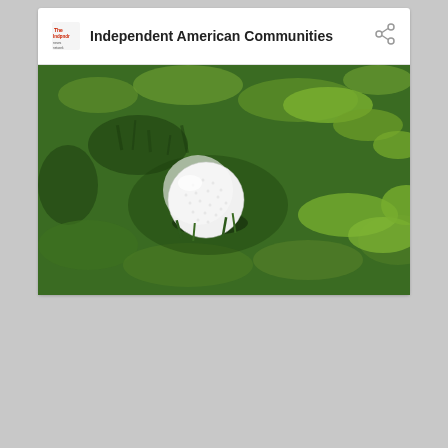Independent American Communities
[Figure (photo): Close-up photograph of a white golf ball resting in thick green grass and clover, taken from above at a slight angle. The ball is positioned slightly left of center, surrounded by lush green vegetation including clover patches and blades of grass.]